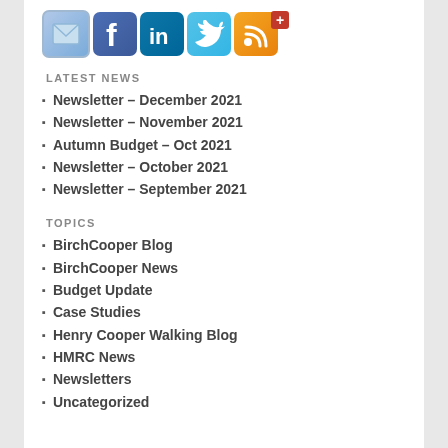[Figure (illustration): Row of social media icon buttons: email, Facebook, LinkedIn, Twitter, RSS feed with a red plus badge]
LATEST NEWS
Newsletter – December 2021
Newsletter – November 2021
Autumn Budget – Oct 2021
Newsletter – October 2021
Newsletter – September 2021
TOPICS
BirchCooper Blog
BirchCooper News
Budget Update
Case Studies
Henry Cooper Walking Blog
HMRC News
Newsletters
Uncategorized